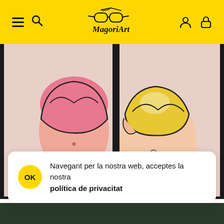MagoriArt navigation header with hamburger menu, search icon, logo, user icon, and cart icon
[Figure (illustration): Colorful cartoon-style illustration of two female figures. Left figure wears a pink top and purple pants. Right figure wears a yellow top and blue shorts. Bold black outlines, vibrant colors.]
Navegant per la nostra web, acceptes la nostra política de privacitat